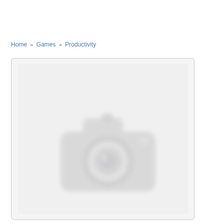Home » Games » Productivity
[Figure (photo): Placeholder image box with a blurred/greyed camera icon in the center, indicating a missing or loading product image. Background is light grey with a subtle rounded border.]